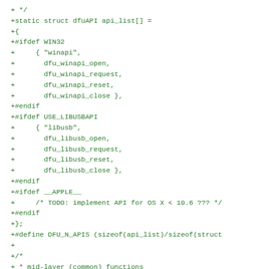+ */
+static struct dfuAPI api_list[] =
+{
+#ifdef WIN32
+     { "winapi",
+       dfu_winapi_open,
+       dfu_winapi_request,
+       dfu_winapi_reset,
+       dfu_winapi_close },
+#endif
+#ifdef USE_LIBUSBAPI
+     { "libusb",
+       dfu_libusb_open,
+       dfu_libusb_request,
+       dfu_libusb_reset,
+       dfu_libusb_close },
+#endif
+#ifdef __APPLE__
+     /* TODO: implement API for OS X < 10.6 ??? */
+#endif
+};
+#define DFU_N_APIS (sizeof(api_list)/sizeof(struct
+
+/*
+ * mid-layer (common) functions
+ */
+static void dfu_set_errstr(struct dfuDev *dfuh, ch
+{
+     strncpy(dfuh->err, str, sizeof(dfuh->err));
+}